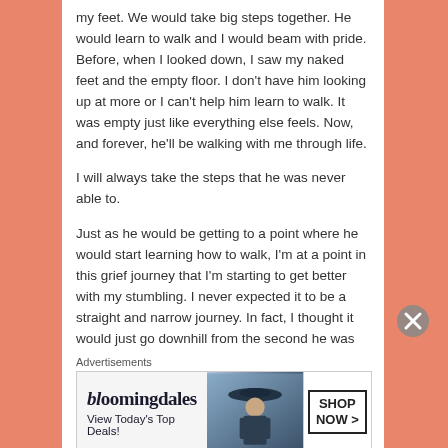my feet. We would take big steps together. He would learn to walk and I would beam with pride. Before, when I looked down, I saw my naked feet and the empty floor. I don't have him looking up at more or I can't help him learn to walk. It was empty just like everything else feels. Now, and forever, he'll be walking with me through life.

I will always take the steps that he was never able to.

Just as he would be getting to a point where he would start learning how to walk, I'm at a point in this grief journey that I'm starting to get better with my stumbling. I never expected it to be a straight and narrow journey. In fact, I thought it would just go downhill from the second he was born. How would there ever be a way I could smile when my child died? I'm not saying I'm full of smiles all the time. Heck, I was just at a spot on Friday where I thought my life didn't matter. But I will tell you, if there is
Advertisements
[Figure (other): Bloomingdale's advertisement banner: 'View Today's Top Deals!' with shop now button and image of woman with hat]